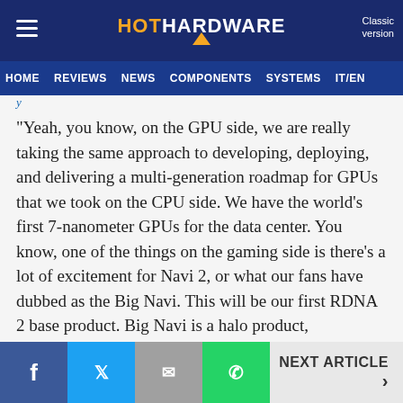HotHardware — Classic version | HOME | REVIEWS | NEWS | COMPONENTS | SYSTEMS | IT/EN
"Yeah, you know, on the GPU side, we are really taking the same approach to developing, deploying, and delivering a multi-generation roadmap for GPUs that we took on the CPU side. We have the world's first 7-nanometer GPUs for the data center. You know, one of the things on the gaming side is there's a lot of excitement for Navi 2, or what our fans have dubbed as the Big Navi. This will be our first RDNA 2 base product. Big Navi is a halo product, enthusiasts love to buy the best, and we are certainly working on giving them the best," Kumar said.
NEXT ARTICLE